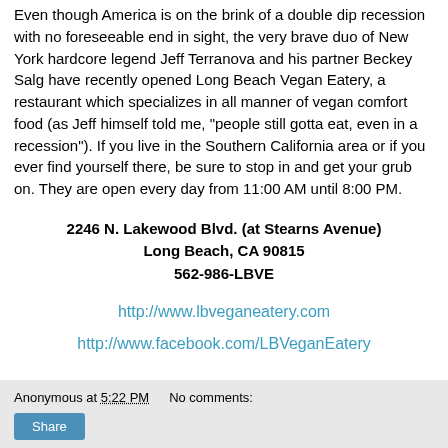Even though America is on the brink of a double dip recession with no foreseeable end in sight, the very brave duo of New York hardcore legend Jeff Terranova and his partner Beckey Salg have recently opened Long Beach Vegan Eatery, a restaurant which specializes in all manner of vegan comfort food (as Jeff himself told me, "people still gotta eat, even in a recession"). If you live in the Southern California area or if you ever find yourself there, be sure to stop in and get your grub on. They are open every day from 11:00 AM until 8:00 PM.
2246 N. Lakewood Blvd. (at Stearns Avenue)
Long Beach, CA 90815
562-986-LBVE
http://www.lbveganeatery.com
http://www.facebook.com/LBVeganEatery
Anonymous at 5:22 PM   No comments:   Share